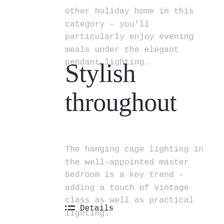other holiday home in this category – you'll particularly enjoy evening meals under the elegant pendant lighting.
Stylish throughout
The hanging cage lighting in the well-appointed master bedroom is a key trend – adding a touch of vintage class as well as practical lighting.
Details